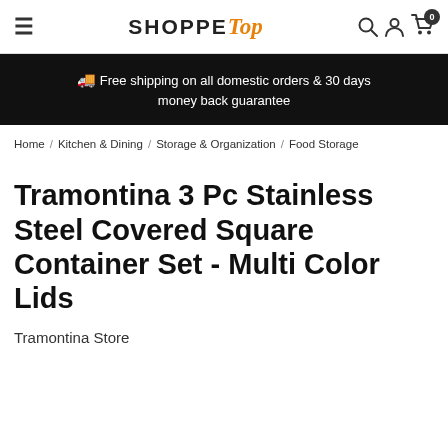SHOPPE Top — navigation header with hamburger menu, logo, search, account, and cart icons
🚚 Free shipping on all domestic orders & 30 days money back guarantee
Home / Kitchen & Dining / Storage & Organization / Food Storage
Tramontina 3 Pc Stainless Steel Covered Square Container Set - Multi Color Lids
Tramontina Store